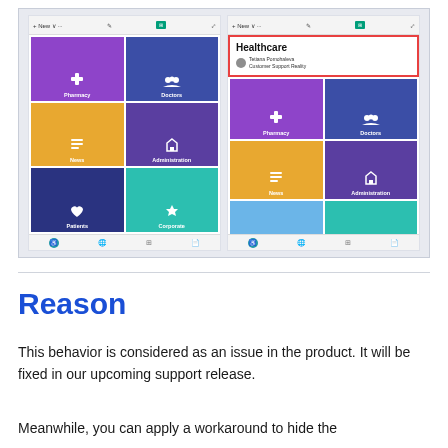[Figure (screenshot): Two side-by-side mobile/app screen screenshots showing a healthcare app with colorful tiles (Pharmacy, Doctors, News, Administration, Patients, Corporate). The right screenshot shows a 'Healthcare' card overlay with a red border and user info for 'Tetiana Pomohaleva, Customer Support Reality'.]
Reason
This behavior is considered as an issue in the product. It will be fixed in our upcoming support release.
Meanwhile, you can apply a workaround to hide the